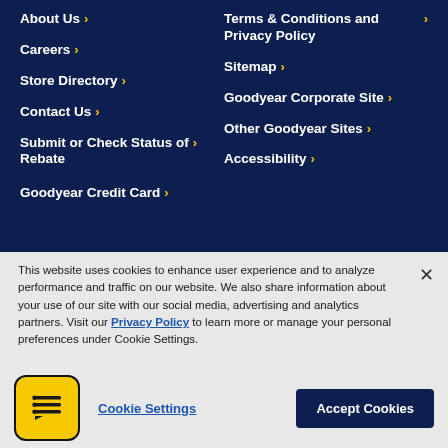About Us >
Terms & Conditions and Privacy Policy >
Careers >
Sitemap >
Store Directory >
Goodyear Corporate Site >
Contact Us >
Other Goodyear Sites >
Submit or Check Status of Rebate >
Accessibility >
Goodyear Credit Card >
This website uses cookies to enhance user experience and to analyze performance and traffic on our website. We also share information about your use of our site with our social media, advertising and analytics partners. Visit our Privacy Policy to learn more or manage your personal preferences under Cookie Settings.
Cookie Settings
Accept Cookies